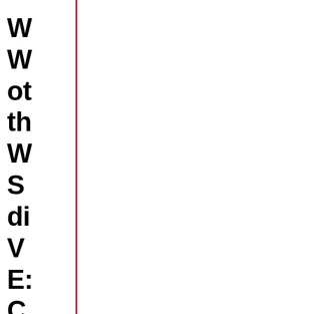W W ot th W S di V E: C A d V 2 D